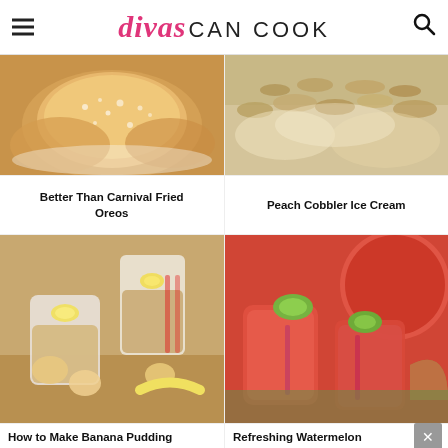divas CAN COOK
[Figure (photo): Close-up of sugar-dusted fried Oreos on a plate]
[Figure (photo): Peach Cobbler Ice Cream in a baking dish with crumble topping]
Better Than Carnival Fried Oreos
Peach Cobbler Ice Cream
[Figure (photo): Banana pudding cups with vanilla wafers and banana slices]
[Figure (photo): Refreshing watermelon drink in glasses with lime garnish]
How to Make Banana Pudding
Refreshing Watermelon
Lidl: More Food for Less Money
Lidl